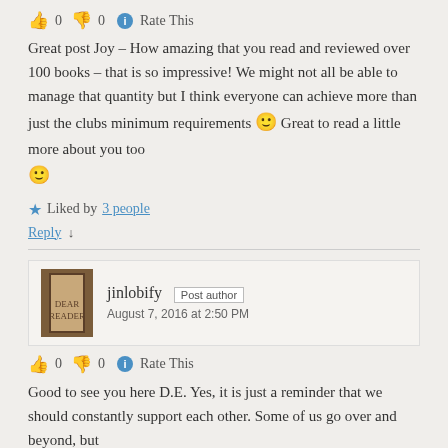👍 0 👎 0 ℹ Rate This
Great post Joy – How amazing that you read and reviewed over 100 books – that is so impressive! We might not all be able to manage that quantity but I think everyone can achieve more than just the clubs minimum requirements 🙂 Great to read a little more about you too 🙂
★ Liked by 3 people
Reply ↓
jinlobify Post author August 7, 2016 at 2:50 PM
👍 0 👎 0 ℹ Rate This
Good to see you here D.E. Yes, it is just a reminder that we should constantly support each other. Some of us go over and beyond, but